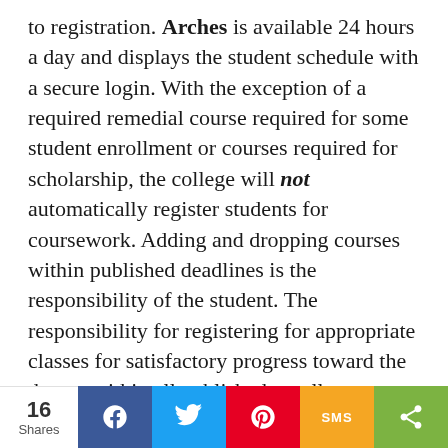to registration. Arches is available 24 hours a day and displays the student schedule with a secure login. With the exception of a required remedial course required for some student enrollment or courses required for scholarship, the college will not automatically register students for coursework. Adding and dropping courses within published deadlines is the responsibility of the student. The responsibility for registering for appropriate classes for satisfactory progress toward the degree within all published enrollment deadlines and maintaining an accurate class schedule each term rests entirely with the student.
16 Shares | Facebook | Twitter | Pinterest | SMS | Share